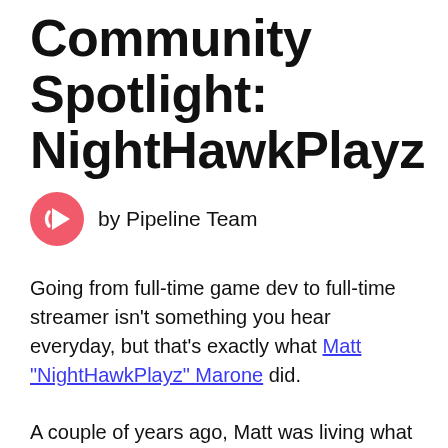Community Spotlight: NightHawkPlayz
by Pipeline Team
Going from full-time game dev to full-time streamer isn't something you hear everyday, but that's exactly what Matt "NightHawkPlayz" Marone did.
A couple of years ago, Matt was living what